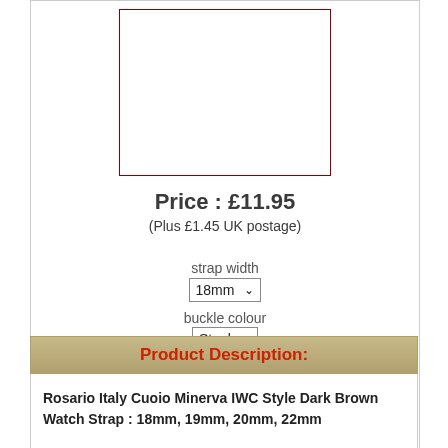[Figure (photo): Product image placeholder — white rectangle with dark red border]
Price : £11.95
(Plus £1.45 UK postage)
strap width
18mm ▾
buckle colour
Steel ▾
[Figure (other): Buy Now PayPal button with payment card logos: MasterCard, Maestro, Visa, Visa Electron, Amex, Direct Debit]
Product Description:
Rosario Italy Cuoio Minerva IWC Style Dark Brown Watch Strap : 18mm, 19mm, 20mm, 22mm